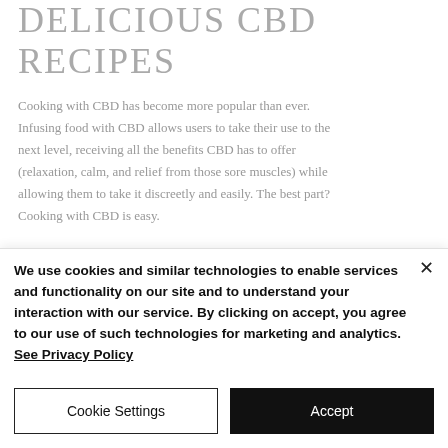DELICIOUS CBD RECIPES
Cooking with CBD has become more popular than ever. Infusing food with CBD allows users to take their use to the next level, receiving all the benefits CBD has to offer (relaxation, calm, and relief from those sore muscles) while allowing them to take it discreetly and easily. The best part? Cooking with CBD is easy.
We use cookies and similar technologies to enable services and functionality on our site and to understand your interaction with our service. By clicking on accept, you agree to our use of such technologies for marketing and analytics. See Privacy Policy